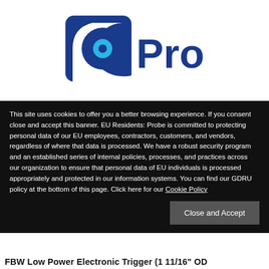[Figure (logo): Probe company logo: dark blue stylized icon with a circle/lens shape and the word 'Probe' in bold dark blue text]
This site uses cookies to offer you a better browsing experience. If you consent close and accept this banner. EU Residents: Probe is committed to protecting personal data of our EU employees, contractors, customers, and vendors, regardless of where that data is processed. We have a robust security program and an established series of internal policies, processes, and practices across our organization to ensure that personal data of EU individuals is processed appropriately and protected in our information systems. You can find our GDRU policy at the bottom of this page. Click here for our Cookie Policy
Close and Accept
FBW Low Power Electronic Trigger  (1 11/16" OD